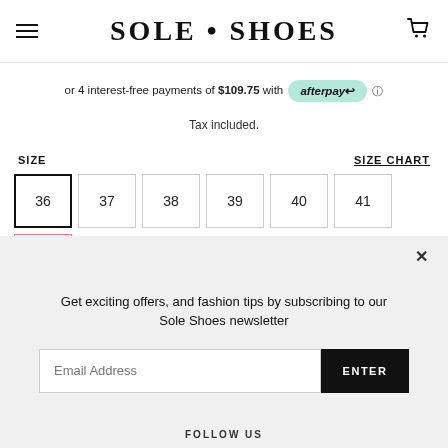SOLE • SHOES
or 4 interest-free payments of $109.75 with afterpay
Tax included.
SIZE
SIZE CHART
36
37
38
39
40
41
Get exciting offers, and fashion tips by subscribing to our Sole Shoes newsletter
Email Address
ENTER
FOLLOW US